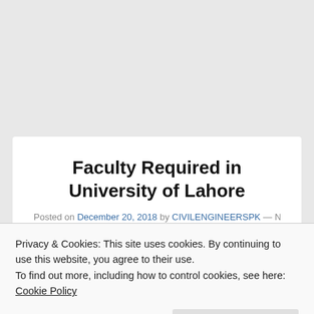Faculty Required in University of Lahore
Posted on December 20, 2018 by CIVILENGINEERSPK — No
Privacy & Cookies: This site uses cookies. By continuing to use this website, you agree to their use.
To find out more, including how to control cookies, see here: Cookie Policy